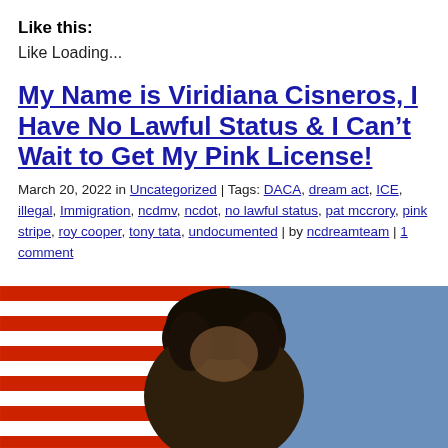Like this:
Like Loading...
My Name is Viridiana Cisneros, I Have No Lawful Status & I Can't Wait to Get My Pink License!
March 20, 2022 in Uncategorized | Tags: DACA, dream act, ICE, illegal, Immigration, ncdmv, ncdot, no lawful status, pat mccrory, pink stripe, roy cooper, tony tata, undocumented | by ncdreamteam | 1 comment
[Figure (photo): A person with dark curly hair in front of an American flag and blue background]